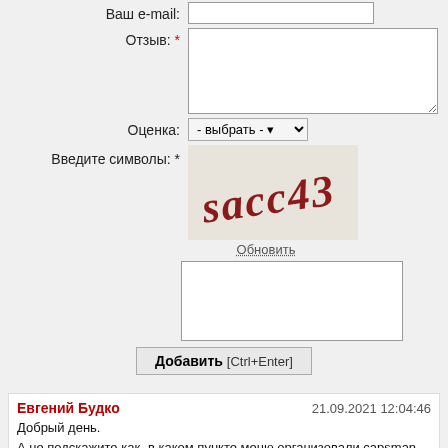Ваш e-mail:
Отзыв: *
Оценка:
- выбрать -
Введите символы: *
[Figure (other): CAPTCHA image with text 'sacc43' on beige background]
Обновить
Добавить [Ctrl+Enter]
Евгений Будко
21.09.2021 12:04:46
Добрый день.
А не подскажите как- в каком пункте меню организовали capsman - use Bits instead of Bytes for "ap-tx-limit" and "client-tx-limit" parameters;
не могу найти более подробной информации.
Ответить
Техподдержка
22.09.2021 12:41:28